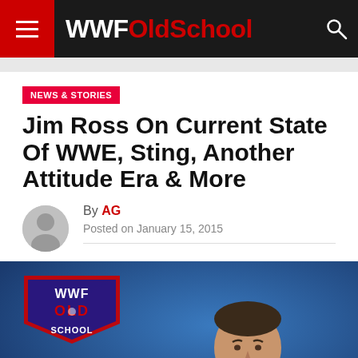WWFOldSchool
NEWS & STORIES
Jim Ross On Current State Of WWE, Sting, Another Attitude Era & More
By AG
Posted on January 15, 2015
[Figure (photo): Jim Ross sitting at a desk against a blue background, with the WWF Old School logo in the upper left corner.]